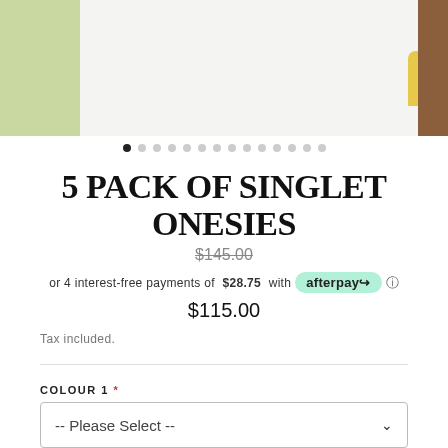[Figure (photo): Product image area showing a yellow/gold onesie folded in a basket on light background, with green leaves on the left edge and dark brown edge on the right. A search/magnify icon is visible top right.]
5 PACK OF SINGLET ONESIES
$145.00 (strikethrough original price)
or 4 interest-free payments of $28.75 with afterpay ℹ
$115.00
Tax included.
COLOUR 1 *
-- Please Select --
COLOUR 2 *
-- Please Select --